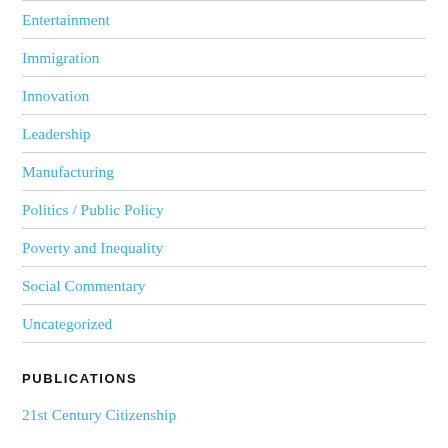Entertainment
Immigration
Innovation
Leadership
Manufacturing
Politics / Public Policy
Poverty and Inequality
Social Commentary
Uncategorized
PUBLICATIONS
21st Century Citizenship